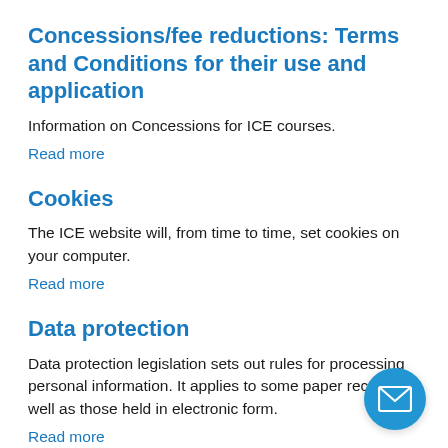Concessions/fee reductions: Terms and Conditions for their use and application
Information on Concessions for ICE courses.
Read more
Cookies
The ICE website will, from time to time, set cookies on your computer.
Read more
Data protection
Data protection legislation sets out rules for processing personal information. It applies to some paper records as well as those held in electronic form.
Read more